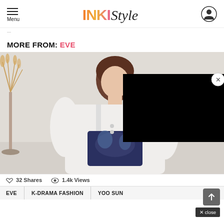Menu | INKI Style
MORE FROM: EVE
[Figure (photo): A woman with brown hair wearing a white jacket over a printed top, sitting in a light-colored room with a vase of dried flowers. A black overlay rectangle covers the upper right portion of the image.]
32 Shares  1.4k Views
EVE  K-DRAMA FASHION  YOO SUN